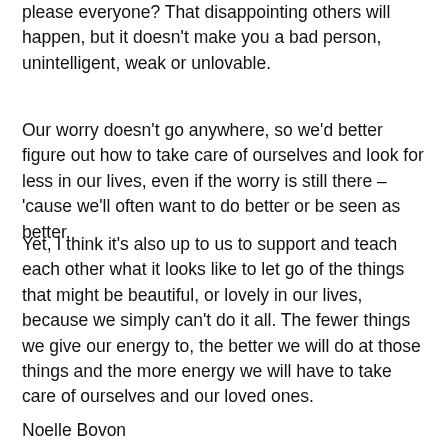please everyone? That disappointing others will happen, but it doesn't make you a bad person, unintelligent, weak or unlovable.
Our worry doesn't go anywhere, so we'd better figure out how to take care of ourselves and look for less in our lives, even if the worry is still there – 'cause we'll often want to do better or be seen as better.
Yet, I think it's also up to us to support and teach each other what it looks like to let go of the things that might be beautiful, or lovely in our lives, because we simply can't do it all. The fewer things we give our energy to, the better we will do at those things and the more energy we will have to take care of ourselves and our loved ones.
Noelle Bovon